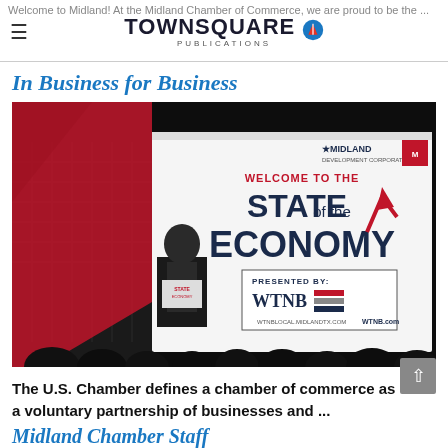Welcome to Midland! At the Midland Chamber of Commerce, we are proud to be the ...
In Business for Business
[Figure (photo): A speaker at a podium on stage with a large banner reading 'Welcome to the State of the Economy' presented by WTNB, with Midland Development Corporation and Midland Chamber logos visible. Audience silhouettes in the foreground.]
The U.S. Chamber defines a chamber of commerce as a voluntary partnership of businesses and ...
Midland Chamber Staff